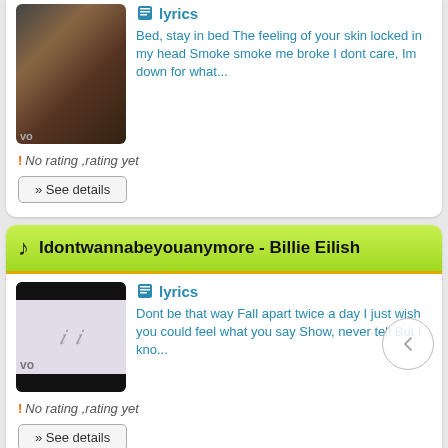[Figure (photo): Music thumbnail photo showing people in dark concert/club setting with 'yo' text visible]
lyrics
Bed, stay in bed The feeling of your skin locked in my head Smoke smoke me broke I dont care, Im down for what...
! No rating ,rating yet
» See details
Idontwannabeyouanymore - Billie Eilish
[Figure (photo): Music thumbnail with black bars top and bottom, light purple/grey middle with faint text, 'yo' watermark]
lyrics
Dont be that way Fall apart twice a day I just wish you could feel what you say Show, never tell But I kno...
! No rating ,rating yet
» See details
Migos, KAROL G, Snoop Dogg & Rock...
lyrics
[Verse 1: Quavo] Family, family (Family) I go to war with